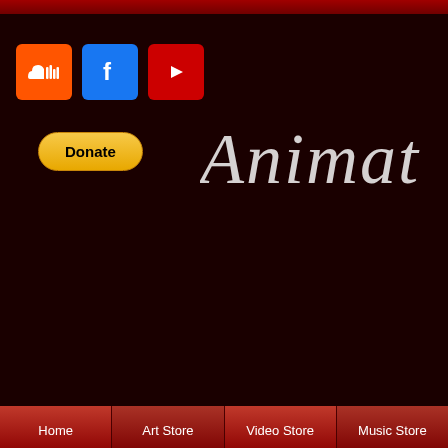[Figure (screenshot): Website header with dark maroon background, social media icons (SoundCloud, Facebook, YouTube), a Donate button, and partial italic brand name 'Animat' visible]
Home | Art Store | Video Store | Music Store
Bitstarz зан…
Zusatzlich konnen Si… konnen sich auch ub… Sie sehen sollten, wa… bevorzugen, sollten…